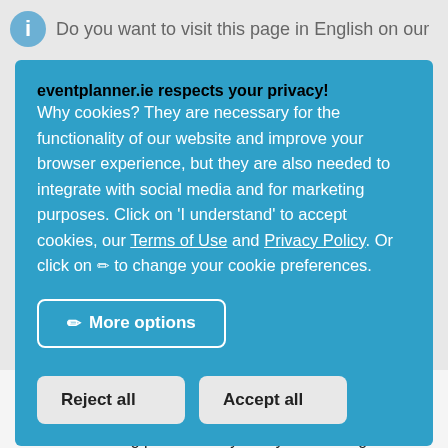Do you want to visit this page in English on our
eventplanner.ie respects your privacy!
Why cookies? They are necessary for the functionality of our website and improve your browser experience, but they are also needed to integrate with social media and for marketing purposes. Click on 'I understand' to accept cookies, our Terms of Use and Privacy Policy. Or click on ✏ to change your cookie preferences.
More options
Reject all
Accept all
event technology can offer and what are the gains your team will access. Make sure to involve them in the decision-making processes by always assessing their needs. Be honest about your growth vision, and transform this potential conflict into an